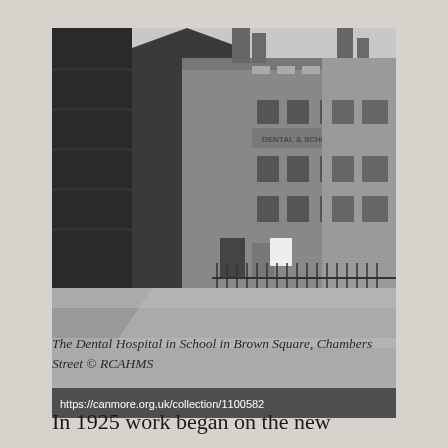[Figure (photo): Black and white photograph of the Dental Hospital in School in Brown Square, Chambers Street. Shows a multi-storey stone building with signage reading 'DENTAL & SCHOOL' on the facade. Foreground shows a cobbled street. URL watermark: https://canmore.org.uk/collection/1100582]
The Dental Hospital in School in Brown Square, Chambers Street © RCAHMS
In 1925 work began on the new